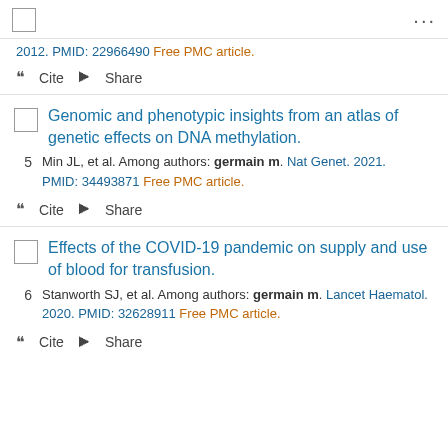... (header bar with checkbox and dots)
2012. PMID: 22966490 Free PMC article.
" Cite  < Share
Genomic and phenotypic insights from an atlas of genetic effects on DNA methylation. Min JL, et al. Among authors: germain m. Nat Genet. 2021. PMID: 34493871 Free PMC article.
" Cite  < Share
Effects of the COVID-19 pandemic on supply and use of blood for transfusion. Stanworth SJ, et al. Among authors: germain m. Lancet Haematol. 2020. PMID: 32628911 Free PMC article.
" Cite  < Share